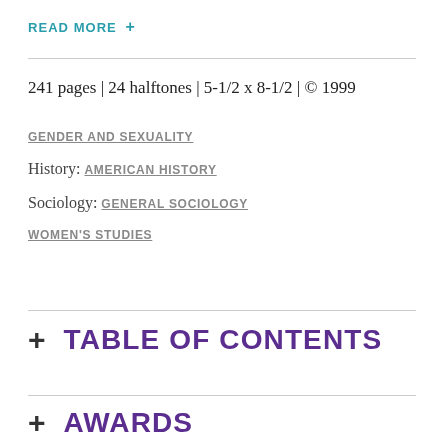READ MORE +
241 pages | 24 halftones | 5-1/2 x 8-1/2 | © 1999
GENDER AND SEXUALITY
History: AMERICAN HISTORY
Sociology: GENERAL SOCIOLOGY
WOMEN'S STUDIES
+ TABLE OF CONTENTS
+ AWARDS